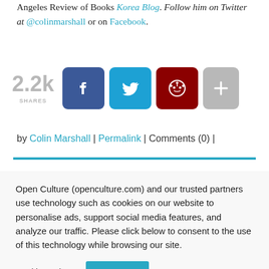Angeles Review of Books Korea Blog. Follow him on Twitter at @colinmarshall or on Facebook.
[Figure (infographic): Social share count showing 2.2k shares with Facebook, Twitter, Reddit, and More (+) share buttons]
by Colin Marshall | Permalink | Comments (0) |
Open Culture (openculture.com) and our trusted partners use technology such as cookies on our website to personalise ads, support social media features, and analyze our traffic. Please click below to consent to the use of this technology while browsing our site.
Cookie settings  ACCEPT